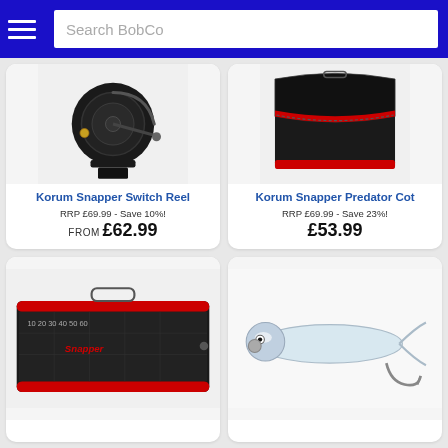Search BobCo
[Figure (photo): Korum Snapper Switch Reel - black spinning fishing reel]
Korum Snapper Switch Reel
RRP £69.99 - Save 10%!
FROM £62.99
[Figure (photo): Korum Snapper Predator Cot - black bag with red trim]
Korum Snapper Predator Cot
RRP £69.99 - Save 23%!
£53.99
[Figure (photo): Korum Snapper fishing bag - black with red trim and measuring tape]
[Figure (photo): Fishing lure/jig - white/silver soft bait with hook]